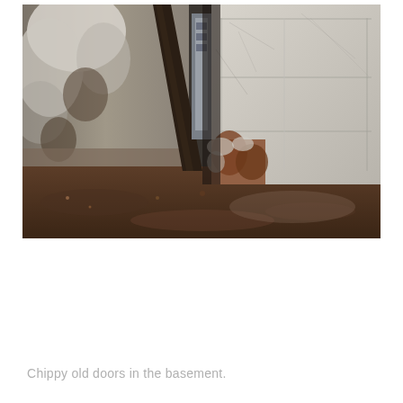[Figure (photo): Interior basement photograph showing a deteriorated old wooden door with peeling white paint, a dark wooden post/beam, muddy floor, and mold-stained crumbling walls. The door panel shows heavy rust and paint loss at its base.]
Chippy old doors in the basement.